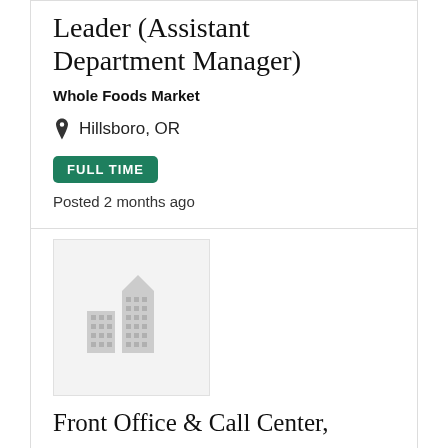Leader (Assistant Department Manager)
Whole Foods Market
Hillsboro, OR
FULL TIME
Posted 2 months ago
[Figure (logo): Company logo placeholder with building/city skyline icon in grey on light grey background]
Front Office & Call Center,